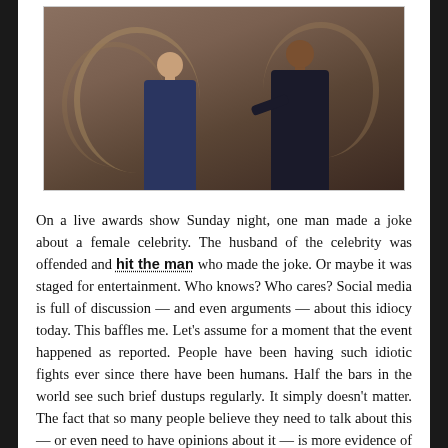[Figure (photo): Two men on a stage at an awards show. One man in a blue jacket and one in a dark suit, appearing to interact physically on stage.]
On a live awards show Sunday night, one man made a joke about a female celebrity. The husband of the celebrity was offended and hit the man who made the joke. Or maybe it was staged for entertainment. Who knows? Who cares? Social media is full of discussion — and even arguments — about this idiocy today. This baffles me. Let's assume for a moment that the event happened as reported. People have been having such idiotic fights ever since there have been humans. Half the bars in the world see such brief dustups regularly. It simply doesn't matter. The fact that so many people believe they need to talk about this — or even need to have opinions about it — is more evidence of the bizarre media brainwashing that convinces many to care passionately about brain-dead trivia. Your life will be happier and saner if you focus on yourself, your family and your